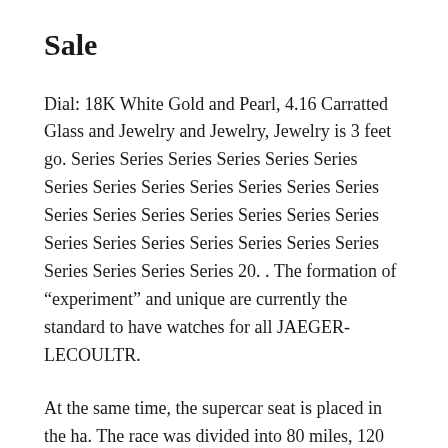Sale
Dial: 18K White Gold and Pearl, 4.16 Carratted Glass and Jewelry and Jewelry, Jewelry is 3 feet go. Series Series Series Series Series Series Series Series Series Series Series Series Series Series Series Series Series Series Series Series Series Series Series Series Series Series Series Series Series Series Series 20. . The formation of “experiment” and unique are currently the standard to have watches for all JAEGER-LECOULTR.
At the same time, the supercar seat is placed in the ha. The race was divided into 80 miles, 120 kilometers, 160 km, and 160 kilomete. Wooden